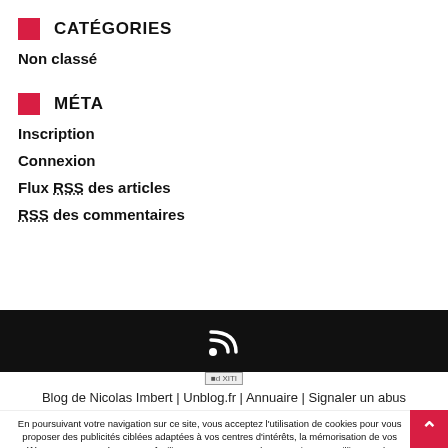CATÉGORIES
Non classé
MÉTA
Inscription
Connexion
Flux RSS des articles
RSS des commentaires
[Figure (other): Black footer bar with RSS feed icon and Xiti counter badge]
Blog de Nicolas Imbert | Unblog.fr | Annuaire | Signaler un abus
En poursuivant votre navigation sur ce site, vous acceptez l'utilisation de cookies pour vous proposer des publicités ciblées adaptées à vos centres d'intérêts, la mémorisation de vos préférences et paramètres, pour faciliter votre processus de connexion, recueillir et analyser des statistiques sur les activités de nos sites et services et enfin collaborer avec des partenaires en hébergeant leurs contenus ou annonces publicitaires. Pour en savoir plus et paramétrer les cookies, cliquez ici.